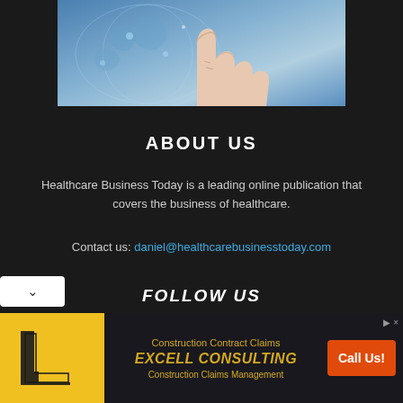[Figure (photo): Hand pointing upward with a world map / blue digital background — Healthcare Business Today hero image]
ABOUT US
Healthcare Business Today is a leading online publication that covers the business of healthcare.
Contact us: daniel@healthcarebusinesstoday.com
FOLLOW US
[Figure (infographic): Excell Consulting advertisement banner — Construction Contract Claims, Construction Claims Management, Call Us! button]